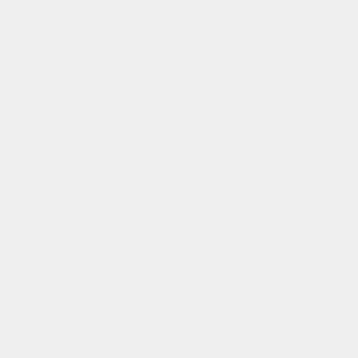[Figure (illustration): Top portion of a sheet music cover, partially visible at the top of the page]
Available from the composer
MID
[Figure (illustration): Sheet music cover for 'An Evening Song' by Paul Gibson for Three Equal Voices unaccompanied, published by ECS Publishing]
ECS Publishing – Catalog # 5181
Ev
SSA
Com sch poe like
[Figure (other): Play button (video/audio player icon)]
[exc Trac
[Figure (illustration): Bottom portion of another sheet music cover partially visible]
Fa
A tr